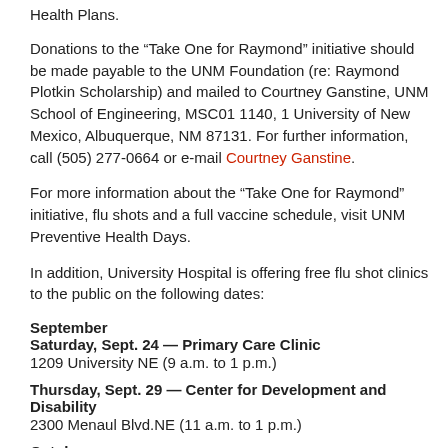Health Plans.
Donations to the “Take One for Raymond” initiative should be made payable to the UNM Foundation (re: Raymond Plotkin Scholarship) and mailed to Courtney Ganstine, UNM School of Engineering, MSC01 1140, 1 University of New Mexico, Albuquerque, NM 87131. For further information, call (505) 277-0664 or e-mail Courtney Ganstine.
For more information about the “Take One for Raymond” initiative, flu shots and a full vaccine schedule, visit UNM Preventive Health Days.
In addition, University Hospital is offering free flu shot clinics to the public on the following dates:
September
Saturday, Sept. 24 — Primary Care Clinic
1209 University NE (9 a.m. to 1 p.m.)
Thursday, Sept. 29 — Center for Development and Disability
2300 Menaul Blvd.NE (11 a.m. to 1 p.m.)
October
Saturday, Oct. 1 — Primary Care Westside